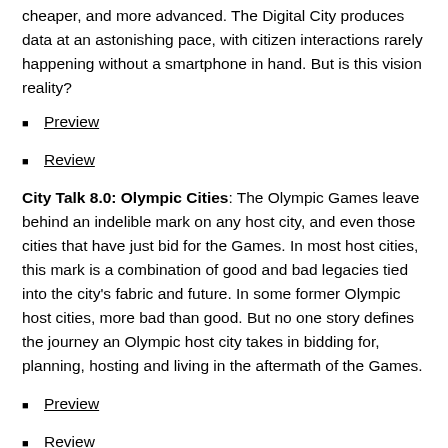cheaper, and more advanced. The Digital City produces data at an astonishing pace, with citizen interactions rarely happening without a smartphone in hand. But is this vision reality?
Preview
Review
City Talk 8.0: Olympic Cities: The Olympic Games leave behind an indelible mark on any host city, and even those cities that have just bid for the Games. In most host cities, this mark is a combination of good and bad legacies tied into the city's fabric and future. In some former Olympic host cities, more bad than good. But no one story defines the journey an Olympic host city takes in bidding for, planning, hosting and living in the aftermath of the Games.
Preview
Review